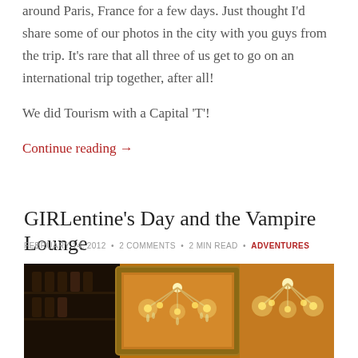around Paris, France for a few days. Just thought I'd share some of our photos in the city with you guys from the trip. It's rare that all three of us get to go on an international trip together, after all!

We did Tourism with a Capital 'T'!
Continue reading →
GIRLentine's Day and the Vampire Lounge
FEBRUARY 14, 2012 • 2 COMMENTS • 2 MIN READ • ADVENTURES
[Figure (photo): Interior photo of the Vampire Lounge showing a chandelier reflected in a mirror, warm orange/amber lighting, bar bottles visible on the left]